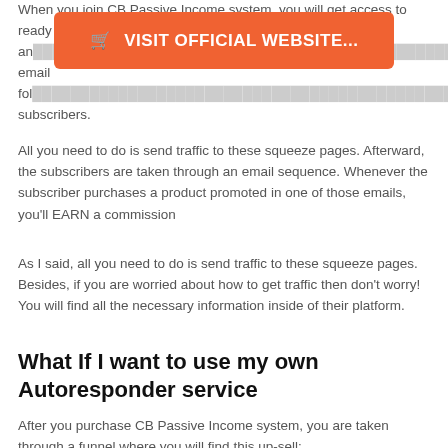When you join CB Passive Income system, you will get access to ready an[…]tive email fol[…]you[…] subscribers.
[Figure (other): Orange button with cart icon reading 'VISIT OFFICIAL WEBSITE...']
All you need to do is send traffic to these squeeze pages. Afterward, the subscribers are taken through an email sequence. Whenever the subscriber purchases a product promoted in one of those emails, you'll EARN a commission
As I said, all you need to do is send traffic to these squeeze pages. Besides, if you are worried about how to get traffic then don't worry! You will find all the necessary information inside of their platform.
What If I want to use my own Autoresponder service
After you purchase CB Passive Income system, you are taken through a funnel where you will find this up-sell: